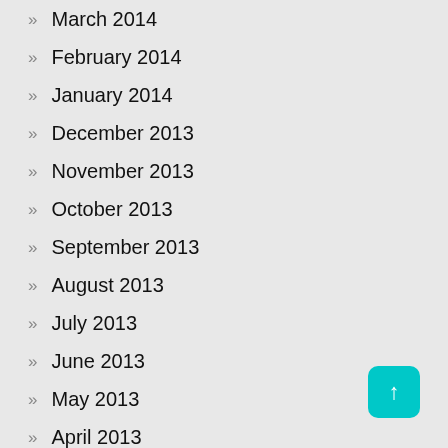March 2014
February 2014
January 2014
December 2013
November 2013
October 2013
September 2013
August 2013
July 2013
June 2013
May 2013
April 2013
March 2013